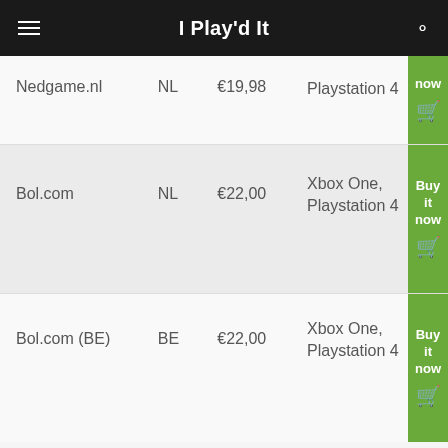I Play'd It
| Store | Country | Price | Platform | Action |
| --- | --- | --- | --- | --- |
| Nedgame.nl | NL | €19,98 | Playstation 4 | now |
| Bol.com | NL | €22,00 | Xbox One, Playstation 4 | Buy it now |
| Bol.com (BE) | BE | €22,00 | Xbox One, Playstation 4 | Buy it now |